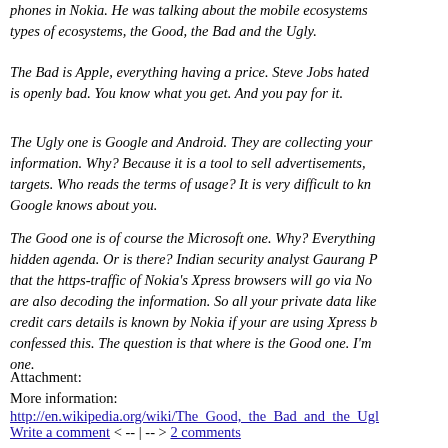phones in Nokia. He was talking about the mobile ecosystems types of ecosystems, the Good, the Bad and the Ugly.
The Bad is Apple, everything having a price. Steve Jobs hated is openly bad. You know what you get. And you pay for it.
The Ugly one is Google and Android. They are collecting your information. Why? Because it is a tool to sell advertisements, targets. Who reads the terms of usage? It is very difficult to know what Google knows about you.
The Good one is of course the Microsoft one. Why? Everything hidden agenda. Or is there? Indian security analyst Gaurang P that the https-traffic of Nokia's Xpress browsers will go via Nokia are also decoding the information. So all your private data like credit cars details is known by Nokia if your are using Xpress b confessed this. The question is that where is the Good one. I'm one.
Attachment:
More information:
http://en.wikipedia.org/wiki/The_Good,_the_Bad_and_the_Ugl
Write a comment < -- | -- > 2 comments
Sick thing